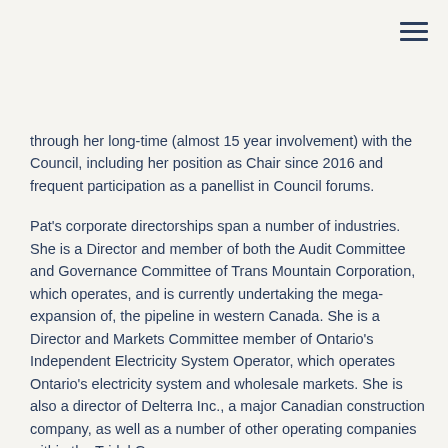through her long-time (almost 15 year involvement) with the Council, including her position as Chair since 2016 and frequent participation as a panellist in Council forums.
Pat's corporate directorships span a number of industries. She is a Director and member of both the Audit Committee and Governance Committee of Trans Mountain Corporation, which operates, and is currently undertaking the mega-expansion of, the pipeline in western Canada. She is a Director and Markets Committee member of Ontario's Independent Electricity System Operator, which operates Ontario's electricity system and wholesale markets. She is also a director of Delterra Inc., a major Canadian construction company, as well as a number of other operating companies within the Tridel Group.
In addition to her corporate directorships, Pat is an appointed member of the Ontario Government's Advisory Panel on Climate Change. She is the Chairman of the Canadian Performance Reporting Board of CPA Canada, and the Chairman of the Board of Toronto and Region Conservation Foundation (which works with